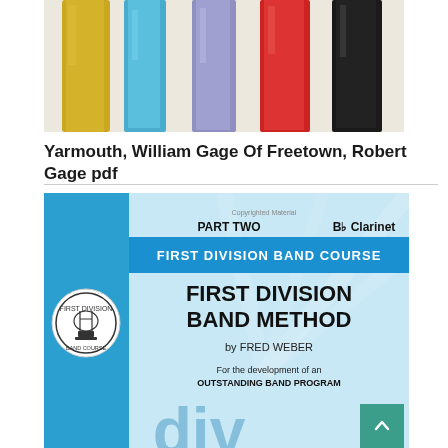[Figure (illustration): Abstract paint strokes in yellow, blue/cyan, purple, red, and black/white vertical bands on white background]
Yarmouth, William Gage Of Freetown, Robert Gage pdf
[Figure (illustration): Book cover for First Division Band Method Part Two, Bb Clarinet by Fred Weber. Blue cover with First Division Band Course header, logo, and text 'For the development of an OUTSTANDING BAND PROGRAM']